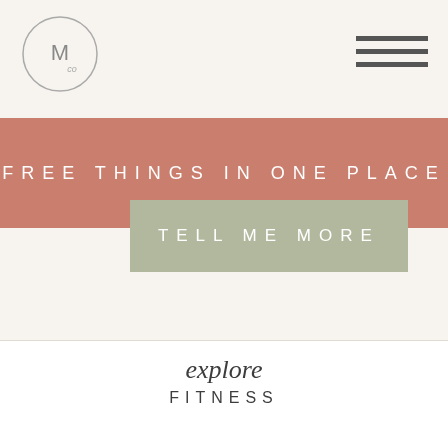[Figure (logo): Circular logo with letter M and 'co' text inside a thin circle outline]
[Figure (other): Hamburger menu icon with three horizontal dark lines]
FREE THINGS IN ONE PLACE
TELL ME MORE
explore
FITNESS